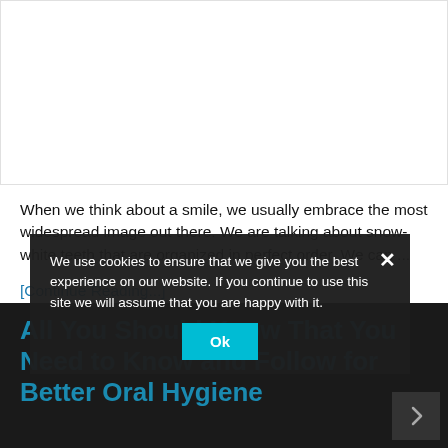[Figure (photo): White/blank image area at top of page]
When we think about a smile, we usually embrace the most widespread image out there. We are talking about snow-white teeth that are organized in perfect order. We can ...
[Continue Reading...]
All You Should Know That You Need to Know and Follow for Better Oral Hygiene
We use cookies to ensure that we give you the best experience on our website. If you continue to use this site we will assume that you are happy with it.